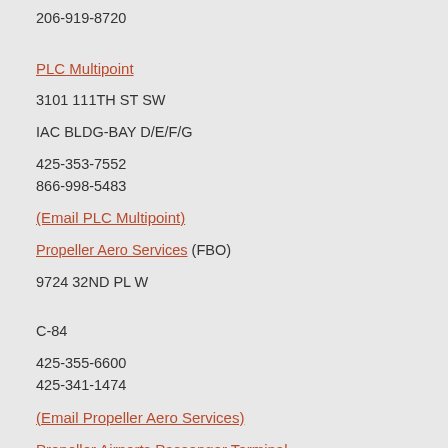206-919-8720
PLC Multipoint
3101 111TH ST SW
IAC BLDG-BAY D/E/F/G
425-353-7552
866-998-5483
(Email PLC Multipoint)
Propeller Aero Services (FBO)
9724 32ND PL W
C-84
425-355-6600
425-341-1474
(Email Propeller Aero Services)
Propeller Airports Passenger Terminal